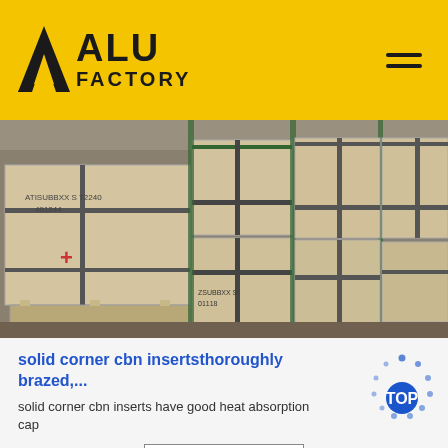ALU FACTORY
[Figure (photo): Warehouse photo showing multiple large wooden crates/boxes stacked on pallets, bound with metal straps, in an industrial storage facility.]
solid corner cbn insertsthoroughly brazed,...
solid corner cbn inserts have good heat absorption capacity
Get Price